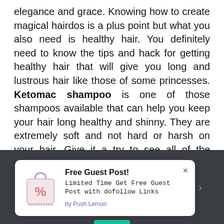elegance and grace. Knowing how to create magical hairdos is a plus point but what you also need is healthy hair. You definitely need to know the tips and hack for getting healthy hair that will give you long and lustrous hair like those of some princesses. Ketomac shampoo is one of those shampoos available that can help you keep your hair long healthy and shinny. They are extremely soft and not hard or harsh on your hair. Give it a try to see all of the difference in your hair right from day one.
[Figure (screenshot): Popup notification card on dark background: Free Guest Post! Limited Time Get Free Guest Post with dofollow Links. by Push Lemon. Close button (×) top right. Shopping bag with percent icon on left.]